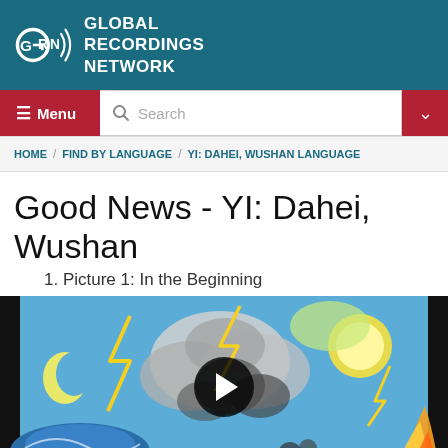[Figure (logo): Global Recordings Network logo with GRN letters and sound wave arcs, white on teal background, with organization name text]
Menu  Search
HOME / FIND BY LANGUAGE / YI: DAHEI, WUSHAN LANGUAGE
Good News - YI: Dahei, Wushan
1. Picture 1: In the Beginning
[Figure (illustration): Comic-style illustration showing creation scene with lightning bolts, sun, moon crescent, storm clouds, waves, and flames on black background, with a circular play button overlay]